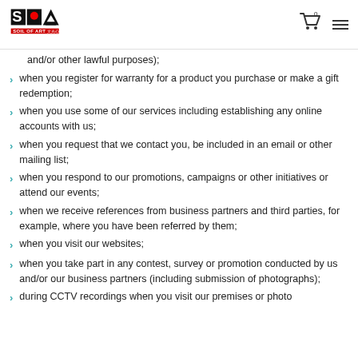SOIL OF ART logo and navigation
and/or other lawful purposes);
when you register for warranty for a product you purchase or make a gift redemption;
when you use some of our services including establishing any online accounts with us;
when you request that we contact you, be included in an email or other mailing list;
when you respond to our promotions, campaigns or other initiatives or attend our events;
when we receive references from business partners and third parties, for example, where you have been referred by them;
when you visit our websites;
when you take part in any contest, survey or promotion conducted by us and/or our business partners (including submission of photographs);
during CCTV recordings when you visit our premises or photo